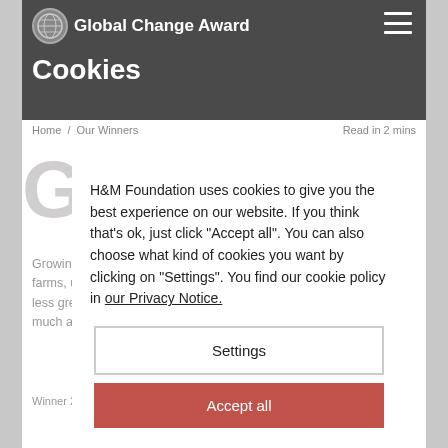Global Change Award
Cookies
Home / Our Winners   Read in 2 mins
GALEX
Growing this way, without the need for soil, instead of on big farms, using less water and no land. The process emits far less greenhouse gas than traditional cotton. And it's fast, as much as ten times faster than conventional cotton.
Winner 2020
H&M Foundation uses cookies to give you the best experience on our website. If you think that's ok, just click "Accept all". You can also choose what kind of cookies you want by clicking on "Settings". You find our cookie policy in our Privacy Notice.
Settings
Accept all